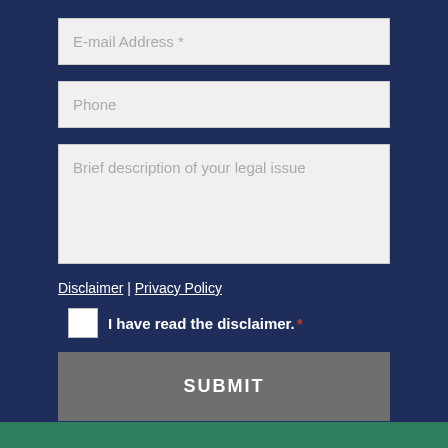E-mail Address *
Phone
Brief description of your legal issue
Disclaimer | Privacy Policy
I have read the disclaimer. *
SUBMIT